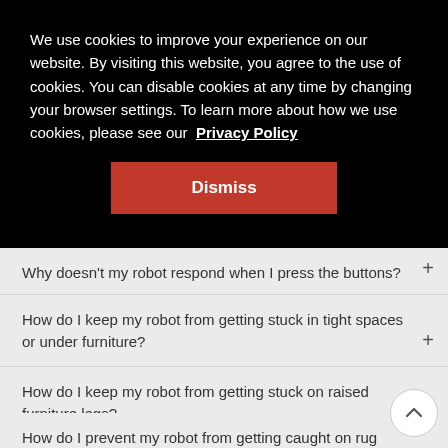We use cookies to improve your experience on our website. By visiting this website, you agree to the use of cookies. You can disable cookies at any time by changing your browser settings. To learn more about how we use cookies, please see our Privacy Policy
Dismiss
Why doesn't my robot respond when I press the buttons?
How do I keep my robot from getting stuck in tight spaces or under furniture?
How do I keep my robot from getting stuck on raised furniture legs?
How do I prevent my robot from getting caught on rug edges?